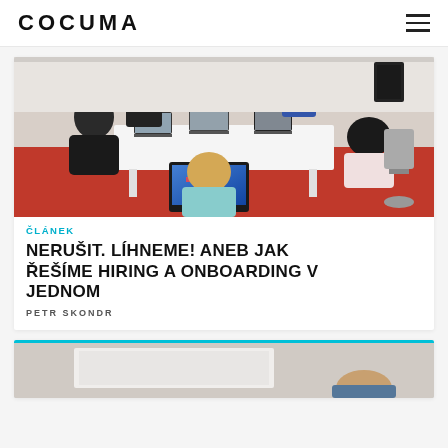COCUMA
[Figure (photo): Group of people working around a white table with laptops in an office with red carpet, from above angle.]
ČLÁNEK
NERUŠIT. LÍHNEME! ANEB JAK ŘEŠÍME HIRING A ONBOARDING V JEDNOM
PETR SKONDR
[Figure (photo): Second card partially visible with a presentation or whiteboard in the background.]